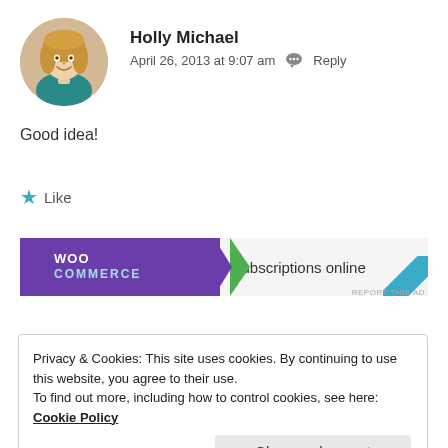[Figure (photo): Circular avatar photo of Holly Michael, a woman with long blonde hair wearing a teal top]
Holly Michael
April 26, 2013 at 9:07 am  Reply
Good idea!
★ Like
[Figure (other): WooCommerce advertisement banner with purple background on left showing WooCommerce logo and text 'subscriptions online' on right with teal arc]
Privacy & Cookies: This site uses cookies. By continuing to use this website, you agree to their use.
To find out more, including how to control cookies, see here: Cookie Policy
Close and accept